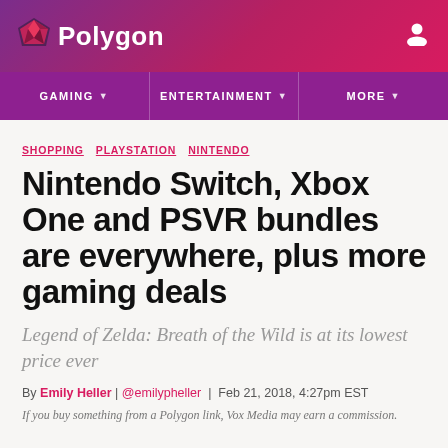Polygon
GAMING   ENTERTAINMENT   MORE
SHOPPING   PLAYSTATION   NINTENDO
Nintendo Switch, Xbox One and PSVR bundles are everywhere, plus more gaming deals
Legend of Zelda: Breath of the Wild is at its lowest price ever
By Emily Heller | @emilypheller | Feb 21, 2018, 4:27pm EST
If you buy something from a Polygon link, Vox Media may earn a commission.